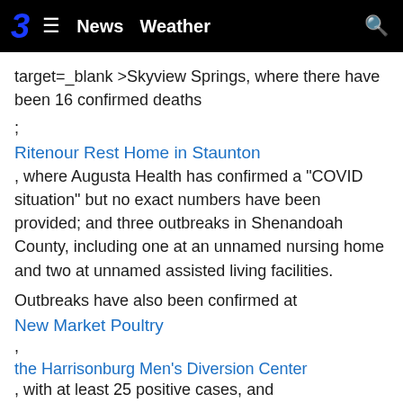3  ≡  News  Weather  🔍
target=_blank >Skyview Springs, where there have been 16 confirmed deaths
;
Ritenour Rest Home in Staunton
, where Augusta Health has confirmed a "COVID situation" but no exact numbers have been provided; and three outbreaks in Shenandoah County, including one at an unnamed nursing home and two at unnamed assisted living facilities.
Outbreaks have also been confirmed at
New Market Poultry
,
the Harrisonburg Men's Diversion Center
, with at least 25 positive cases, and